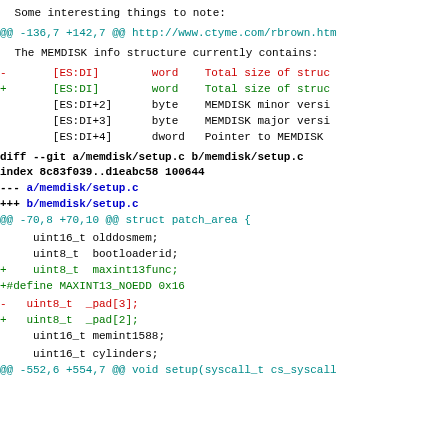Some interesting things to note:
@@ -136,7 +142,7 @@ http://www.ctyme.com/rbrown.htm
The MEMDISK info structure currently contains:
-       [ES:DI]        word    Total size of struc
+       [ES:DI]        word    Total size of struc
        [ES:DI+2]      byte    MEMDISK minor versi
        [ES:DI+3]      byte    MEMDISK major versi
        [ES:DI+4]      dword   Pointer to MEMDISK
diff --git a/memdisk/setup.c b/memdisk/setup.c
index 8c83f039..d1eabc58 100644
--- a/memdisk/setup.c
+++ b/memdisk/setup.c
@@ -70,8 +70,10 @@ struct patch_area {
uint16_t olddosmem;
    uint8_t  bootloaderid;
+   uint8_t  maxint13func;
+#define MAXINT13_NOEDD 0x16
-   uint8_t  _pad[3];
+   uint8_t  _pad[2];
    uint16_t memint1588;
uint16_t cylinders;
@@ -552,6 +554,7 @@ void setup(syscall_t cs_syscall